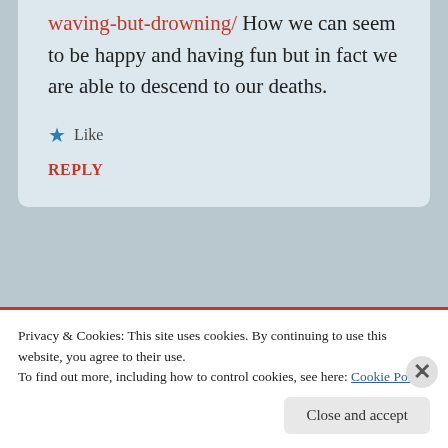waving-but-drowning/ How we can seem to be happy and having fun but in fact we are able to descend to our deaths.
★ Like
REPLY
Venkat reddy  December 20, 2017 — 6:47 am
Privacy & Cookies: This site uses cookies. By continuing to use this website, you agree to their use.
To find out more, including how to control cookies, see here: Cookie Policy
Close and accept